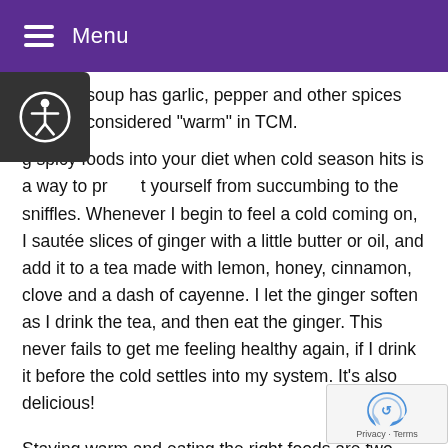Menu
chicken soup has garlic, pepper and other spices that are considered “warm” in TCM.
g spicy foods into your diet when cold season hits is a way to protect yourself from succumbing to the sniffles. Whenever I begin to feel a cold coming on, I sautée slices of ginger with a little butter or oil, and add it to a tea made with lemon, honey, cinnamon, clove and a dash of cayenne. I let the ginger soften as I drink the tea, and then eat the ginger. This never fails to get me feeling healthy again, if I drink it before the cold settles into my system. It’s also delicious!
Staying warm and eating the right foods are two ways to stay healthy, and another is acupuncture. If you don’t have access to your acupuncturist, the next best thing is to utilize some acupressure points to crank up your immune system. If you slide your finger down the side of your thumb, you will hit a bone just below the wrist crease. Keep sliding down about an inch or so, and press hard while feeling for a tender spot. This is Lung 7, which is a powerful point to build up the